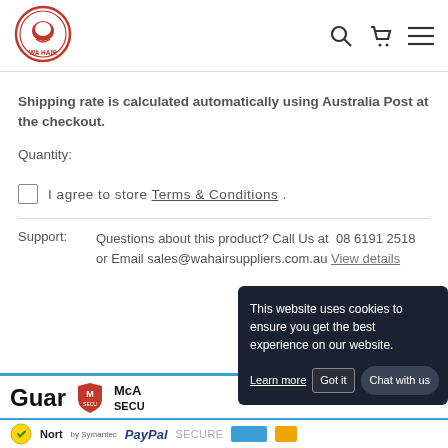[Figure (logo): WA Hair logo - circular red and white logo with hair icon]
Shipping rate is calculated automatically using Australia Post at the checkout.
Quantity:
I agree to store Terms & Conditions .
Support: Questions about this product? Call Us at 08 6191 2518 or Email sales@wahairsuppliers.com.au View details
[Figure (infographic): Guarantee section with McAfee Secure and Norton by Symantec logos, PayPal, SECURE text and colored bars]
This website uses cookies to ensure you get the best experience on our website. Learn more Got it Chat with us